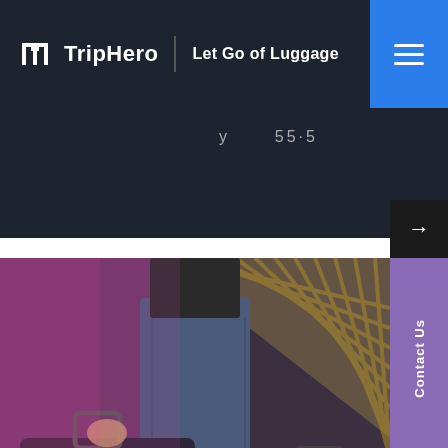TripHero | Let Go of Luggage
y  55·5
[Figure (photo): Person carrying two large dark suitcases with pink/purple color overlay on the left side. Background shows a diagonal gold striped pattern in the upper right. Website photo for TripHero luggage service.]
Contact Us